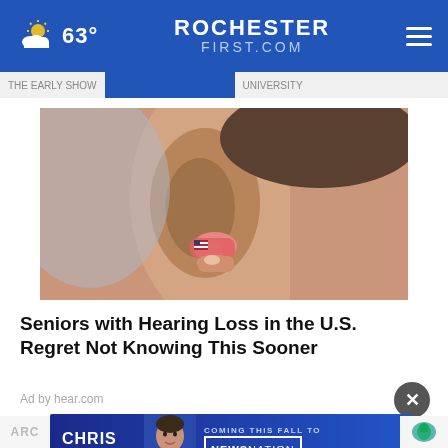63° RochesterFirst.com
[Figure (photo): Close-up photo of a person inserting a small hearing aid into their ear, with a finger holding the pink/clear hearing aid device near the ear canal.]
Seniors with Hearing Loss in the U.S. Regret Not Knowing This Sooner
Ad by hear.com
[Figure (infographic): Advertisement banner for Chris Cuomo coming to NewsNation this fall, showing a portrait photo of Chris Cuomo in a suit alongside text 'COMING THIS FALL TO NEWSNATION FIND YOUR CHANNEL']
ARC